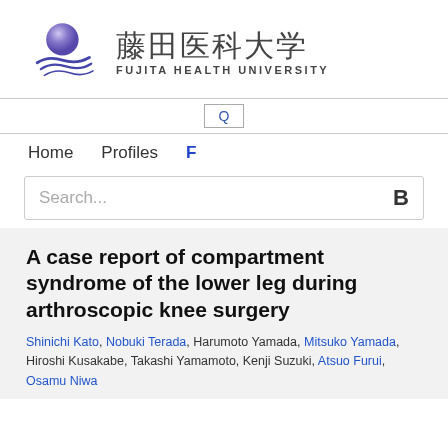[Figure (logo): Fujita Health University logo with purple sphere and wave lines, alongside Japanese kanji text 藤田医科大学 and English text FUJITA HEALTH UNIVERSITY]
Home  Profiles  F
A case report of compartment syndrome of the lower leg during arthroscopic knee surgery
Shinichi Kato, Nobuki Terada, Harumoto Yamada, Mitsuko Yamada, Hiroshi Kusakabe, Takashi Yamamoto, Kenji Suzuki, Atsuo Furui, Osamu Niwa